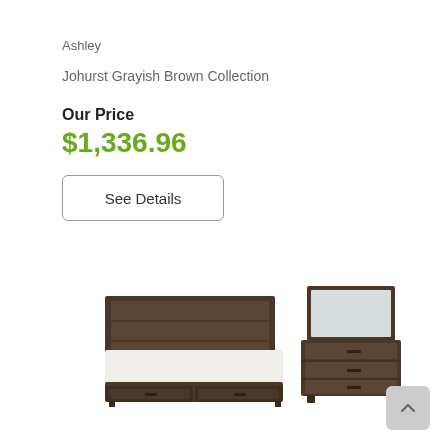Ashley
Johurst Grayish Brown Collection
Our Price
$1,336.96
See Details
[Figure (photo): Bedroom furniture set showing a dark brown wooden bed with white bedding and storage drawers underneath, and a matching dresser with mirror.]